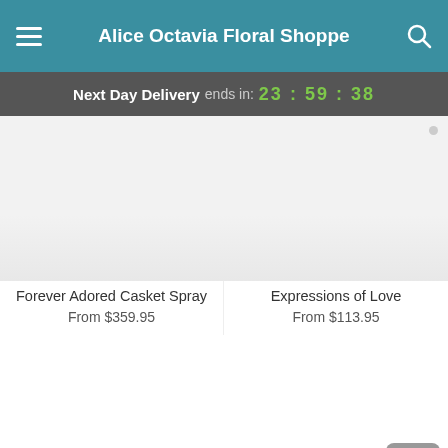Alice Octavia Floral Shoppe
Next Day Delivery ends in: 23:59:38
Forever Adored Casket Spray
From $359.95
Expressions of Love
From $113.95
[Figure (photo): Product image area (top-left, partially cropped)]
[Figure (photo): Product image area (top-right, partially cropped)]
[Figure (photo): Product image area (bottom-left, white/empty)]
[Figure (photo): Product image area (bottom-right, white/empty)]
With Open Hearts™
From $204.95
Stargazer Sympathies Cross™